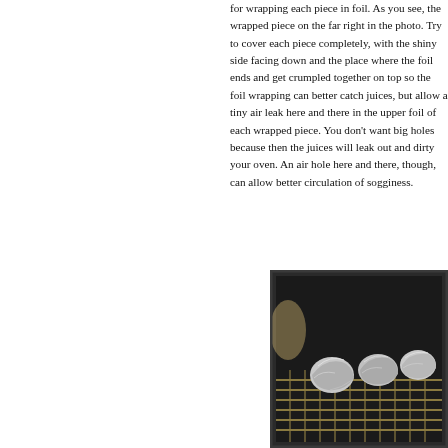for wrapping each piece in foil.  As you see, the wrapped piece on the far right in the photo.  Try to cover each piece completely, with the shiny side facing down and the place where the foil ends and get crumpled together on top so the foil wrapping can better catch juices, but allow a tiny air leak here and there in the upper foil of each wrapped piece.  You don't want big holes because then the juices will leak out and dirty your oven.  An air hole here and there, though, can allow better circulation of sogginess.
[Figure (photo): An oven with foil-wrapped pieces of food placed on the oven rack, visible inside a dark oven interior.]